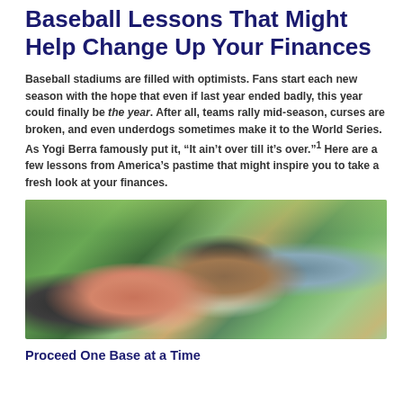Baseball Lessons That Might Help Change Up Your Finances
Baseball stadiums are filled with optimists. Fans start each new season with the hope that even if last year ended badly, this year could finally be the year. After all, teams rally mid-season, curses are broken, and even underdogs sometimes make it to the World Series. As Yogi Berra famously put it, “It ain’t over till it’s over.”¹ Here are a few lessons from America’s pastime that might inspire you to take a fresh look at your finances.
[Figure (photo): A smiling African American family of four outdoors — mother, father, son wearing baseball cap, and young daughter — with the father holding a baseball glove, green foliage in the background]
Proceed One Base at a Time